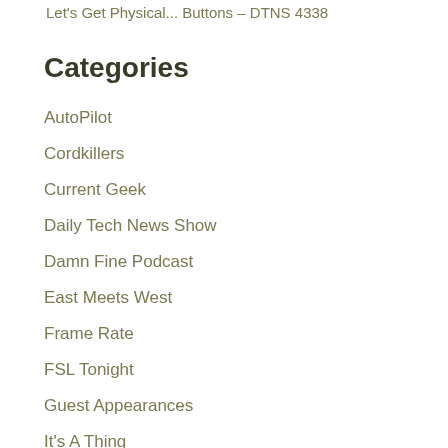Let's Get Physical... Buttons – DTNS 4338
Categories
AutoPilot
Cordkillers
Current Geek
Daily Tech News Show
Damn Fine Podcast
East Meets West
Frame Rate
FSL Tonight
Guest Appearances
It's A Thing
Lot Beta
PIDASW
Quotes
Shows
Speaking Appearances